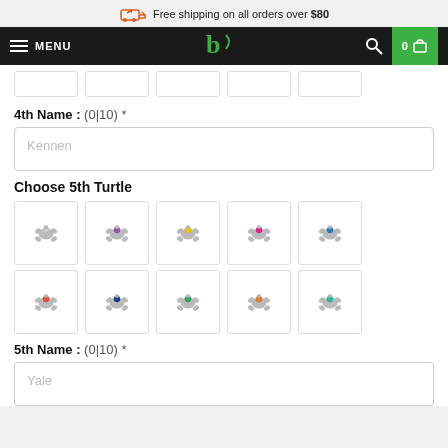Free shipping on all orders over $80
MENU | logo | search | 0 cart
[Figure (other): Partially visible row of 5 turtle selection boxes from previous section]
4th Name : (0|10) *
Kennen (placeholder text in input field)
Choose 5th Turtle
[Figure (other): Grid of 10 turtle pendants with gemstones in various colors: row 1: grey/clear, purple, yellow/gold, pink, blue; row 2: red/pink, dark blue, green, orange/amber, teal/aqua]
5th Name : (0|10) *
Yale (placeholder text in input field)